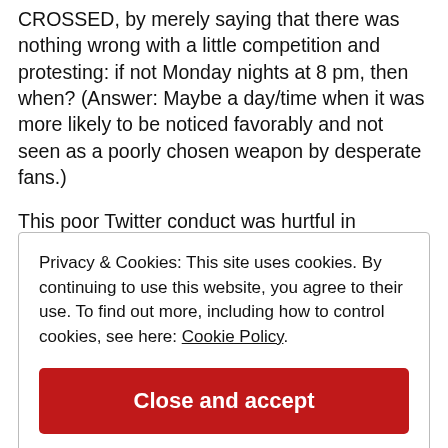CROSSED, by merely saying that there was nothing wrong with a little competition and protesting:  if not Monday nights at 8 pm, then when?   (Answer: Maybe a day/time when it was more likely to be noticed favorably and not seen as a poorly chosen weapon by desperate fans.)
This poor Twitter conduct was hurtful in
Privacy & Cookies: This site uses cookies. By continuing to use this website, you agree to their use. To find out more, including how to control cookies, see here: Cookie Policy
Close and accept
on, which will then have to see if it can